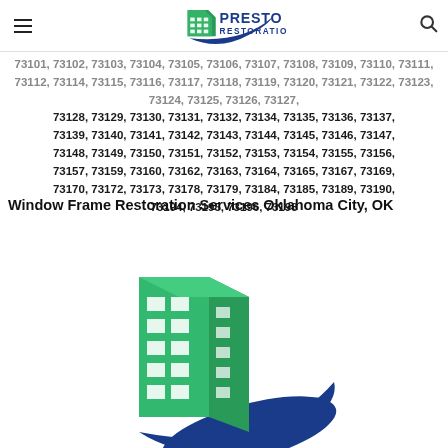Presto Restoration
73128, 73129, 73130, 73131, 73132, 73134, 73135, 73136, 73137, 73139, 73140, 73141, 73142, 73143, 73144, 73145, 73146, 73147, 73148, 73149, 73150, 73151, 73152, 73153, 73154, 73155, 73156, 73157, 73159, 73160, 73162, 73163, 73164, 73165, 73167, 73169, 73170, 73172, 73173, 73178, 73179, 73184, 73185, 73189, 73190, 73194, 73195, 73196, 73198
Window Frame Restoration Services Oklahoma City, OK
[Figure (logo): Presto Restoration logo — green building with blue swoosh]